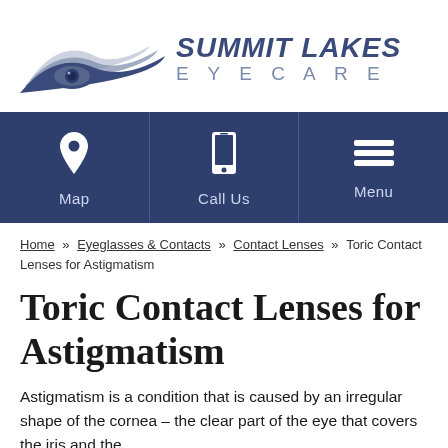[Figure (logo): Summit Lakes Eyecare logo with stylized eye/mountain graphic and text]
[Figure (infographic): Navigation bar with three buttons: Map (location pin icon), Call Us (phone icon), Menu (hamburger icon), dark blue background]
Home » Eyeglasses & Contacts » Contact Lenses » Toric Contact Lenses for Astigmatism
Toric Contact Lenses for Astigmatism
Astigmatism is a condition that is caused by an irregular shape of the cornea – the clear part of the eye that covers the iris and the